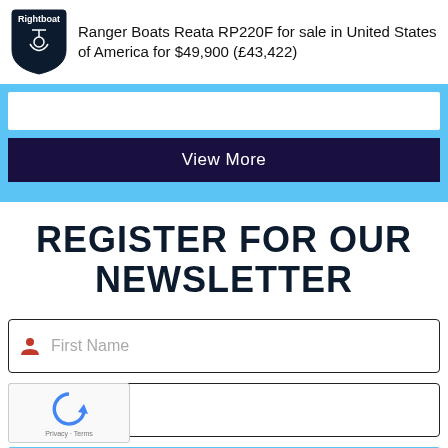Ranger Boats Reata RP220F for sale in United States of America for $49,900 (£43,422)
View More
REGISTER FOR OUR NEWSLETTER
First Name
Email
REGISTER